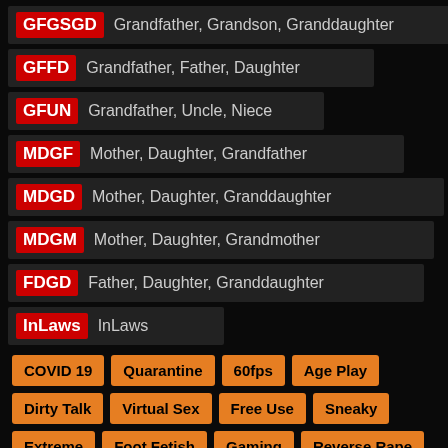GFGSGD  Grandfather, Grandson, Granddaughter
GFFD  Grandfather, Father, Daughter
GFUN  Grandfather, Uncle, Niece
MDGF  Mother, Daughter, Grandfather
MDGD  Mother, Daughter, Granddaughter
MDGM  Mother, Daughter, Grandmother
FDGD  Father, Daughter, Granddaughter
InLaws  InLaws
COVID 19
Quarantine
60fps
Age Play
Dirty Talk
Virtual Sex
Free Use
Sneaky
Extreme
Foot Fetish
Gaming
Reverse Rape